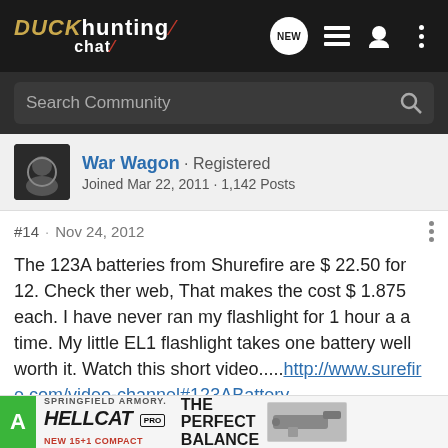[Figure (screenshot): Duck Hunting Chat website header with logo, navigation icons including NEW chat bubble, list icon, user icon, and more options icon]
[Figure (screenshot): Search Community search bar on dark background]
War Wagon · Registered Joined Mar 22, 2011 · 1,142 Posts
#14 · Nov 24, 2012
The 123A batteries from Shurefire are $ 22.50 for 12. Check ther web, That makes the cost $ 1.875 each. I have never ran my flashlight for 1 hour a a time. My little EL1 flashlight takes one battery well worth it. Watch this short video.....http://www.surefire.com/video-channel#123ABattery
[Figure (screenshot): Springfield Armory Hellcat Pro advertisement at bottom of page]